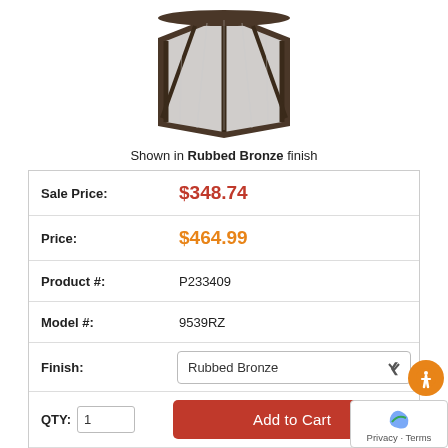[Figure (photo): Product photo of an outdoor lantern light fixture in Rubbed Bronze finish, showing the top portion of the fixture with dark metal frame and clear glass panels]
Shown in Rubbed Bronze finish
| Sale Price: | $348.74 |
| Price: | $464.99 |
| Product #: | P233409 |
| Model #: | 9539RZ |
| Finish: | Rubbed Bronze |
| QTY: | 1 | Add to Cart |
| Shipping: | Free Shipping! Usually Ships In 2-3 Business Days |
| Dimensions: | 12.25(h) x 21.5(lb... |